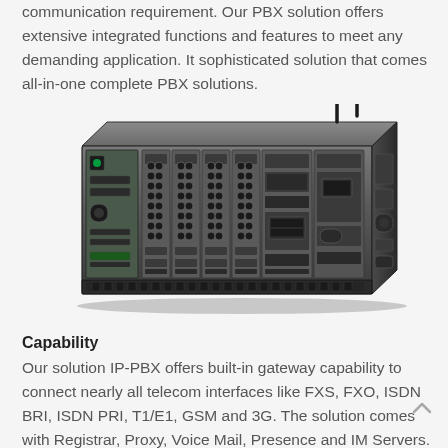communication requirement. Our PBX solution offers extensive integrated functions and features to meet any demanding application. It sophisticated solution that comes all-in-one complete PBX solutions.
[Figure (photo): Photo of a PBX hardware unit — a rack-mounted communications device with multiple module slots, ports, and two antenna stubs visible on the top right. The unit is dark gray/black with various interface cards installed.]
Capability
Our solution IP-PBX offers built-in gateway capability to connect nearly all telecom interfaces like FXS, FXO, ISDN BRI, ISDN PRI, T1/E1, GSM and 3G. The solution comes with Registrar, Proxy, Voice Mail, Presence and IM Servers.